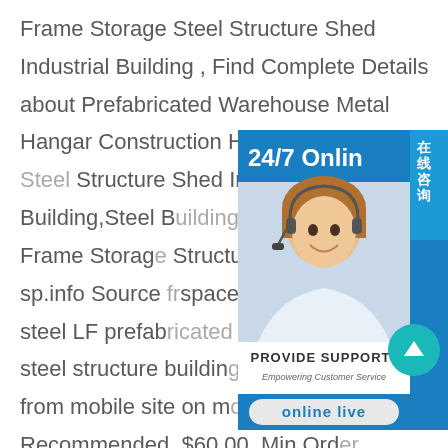Frame Storage Steel Structure Shed Industrial Building , Find Complete Details about Prefabricated Warehouse Metal Hangar Construction Hall Frame Storage Steel Structure Shed Industrial Building,Steel Building Prefabricated Hall Frame Storage Structure Shed Industrial sp.info Source space frame hangar price steel LF prefab frame hangar price steel structure building more details about from mobile site on m Details. Recommended. $60.00. Min.Ord Meters. $59.00. 500-999 Square Meters. $58.00. ≥1000 Square Meters.sp.info Metal Airplane Han Prefab Steel Airplane Steel is the best construction material for aircraft hangars due to its flexible design, durability and resistance to harsh weather, water, mold
[Figure (infographic): Customer service widget showing 24/7 Online support with a headset-wearing representative photo, PROVIDE SUPPORT brand name, and online live chat button]